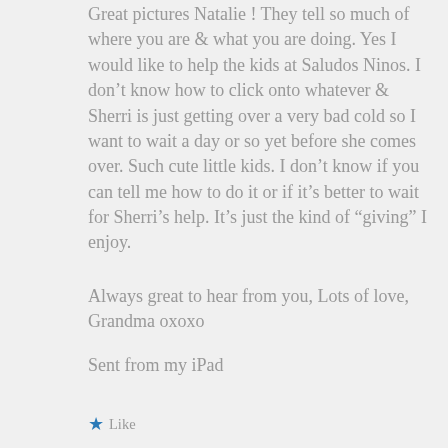Great pictures Natalie ! They tell so much of where you are & what you are doing. Yes I would like to help the kids at Saludos Ninos. I don't know how to click onto whatever & Sherri is just getting over a very bad cold so I want to wait a day or so yet before she comes over. Such cute little kids. I don't know if you can tell me how to do it or if it's better to wait for Sherri's help. It's just the kind of “giving” I enjoy.
Always great to hear from you, Lots of love, Grandma oxoxo
Sent from my iPad
★ Like
Reply